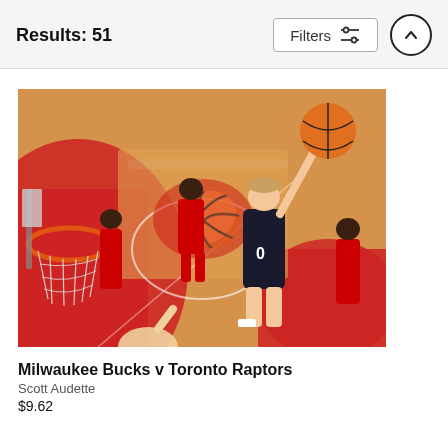Results: 51
[Figure (photo): NBA basketball game photo: Milwaukee Bucks player #0 reaching up to dunk or lay up a basketball near the basket, viewed from a low angle behind the hoop. Raptors players in red uniforms visible in background on a hardwood court with Toronto Raptors logo.]
Milwaukee Bucks v Toronto Raptors
Scott Audette
$9.62